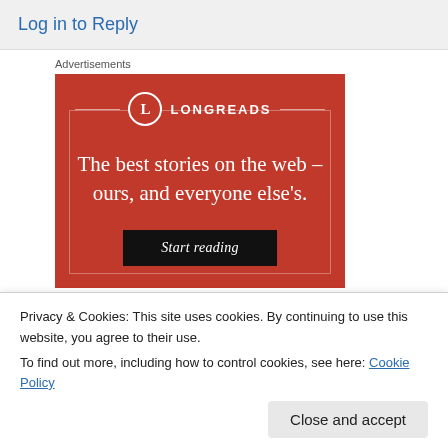Log in to Reply
Advertisements
[Figure (illustration): Longreads advertisement banner with red background. Shows Longreads logo (circle with L) at top, tagline 'The best stories on the web – ours, and everyone else's.' in white serif font, and a black 'Start reading' button.]
Privacy & Cookies: This site uses cookies. By continuing to use this website, you agree to their use.
To find out more, including how to control cookies, see here: Cookie Policy
Close and accept